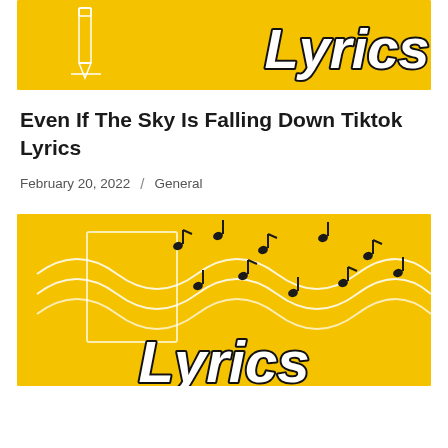[Figure (illustration): Yellow banner image with 'Lyrics' text in bold white italic font with dark outline, and a white pencil illustration on the left side against a golden yellow background.]
Even If The Sky Is Falling Down Tiktok Lyrics
February 20, 2022  /  General
[Figure (illustration): Yellow background image with scattered black music notes, white wavy lines, and 'Lyrics' text in bold white italic font with dark outline at the bottom.]